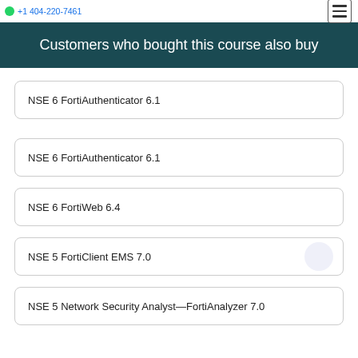+1 404-220-7461
Customers who bought this course also buy
NSE 6 FortiAuthenticator 6.1
NSE 6 FortiAuthenticator 6.1
NSE 6 FortiWeb 6.4
NSE 5 FortiClient EMS 7.0
NSE 5 Network Security Analyst—FortiAnalyzer 7.0